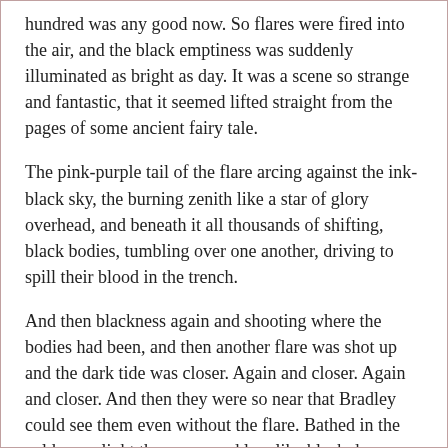hundred was any good now. So flares were fired into the air, and the black emptiness was suddenly illuminated as bright as day. It was a scene so strange and fantastic, that it seemed lifted straight from the pages of some ancient fairy tale.
The pink-purple tail of the flare arcing against the ink-black sky, the burning zenith like a star of glory overhead, and beneath it all thousands of shifting, black bodies, tumbling over one another, driving to spill their blood in the trench.
And then blackness again and shooting where the bodies had been, and then another flare was shot up and the dark tide was closer. Again and closer. Again and closer. And then they were so near that Bradley could see them even without the flare. Bathed in the cold moonlight they appeared less like black demons, and more like pale ghosts, and only a dozen paces from where he and his squad stood now!